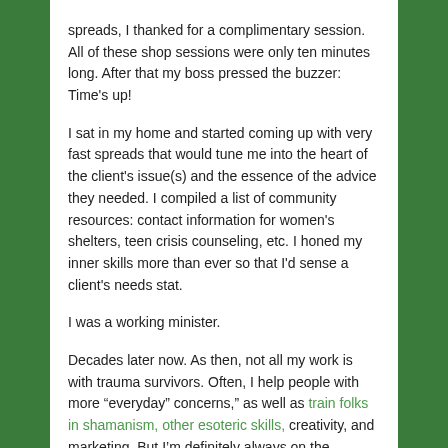spreads, I thanked for a complimentary session. All of these shop sessions were only ten minutes long. After that my boss pressed the buzzer: Time's up!
I sat in my home and started coming up with very fast spreads that would tune me into the heart of the client's issue(s) and the essence of the advice they needed. I compiled a list of community resources: contact information for women's shelters, teen crisis counseling, etc. I honed my inner skills more than ever so that I'd sense a client's needs stat.
I was a working minister.
Decades later now. As then, not all my work is with trauma survivors. Often, I help people with more “everyday” concerns,” as well as train folks in shamanism, other esoteric skills, creativity, and marketing. But I’m definitely always on the frontlines: in community, with a busy schedule of counseling and teaching.
I mention being a shop employee and my ensuing work